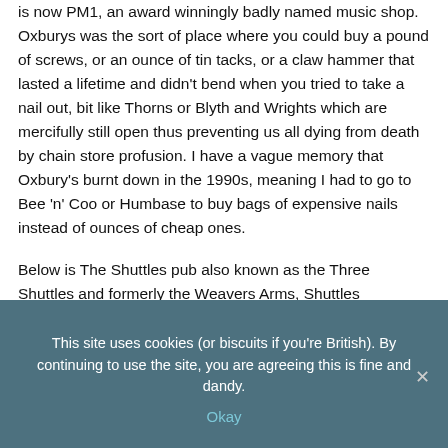is now PM1, an award winningly badly named music shop. Oxburys was the sort of place where you could buy a pound of screws, or an ounce of tin tacks, or a claw hammer that lasted a lifetime and didn't bend when you tried to take a nail out, bit like Thorns or Blyth and Wrights which are mercifully still open thus preventing us all dying from death by chain store profusion. I have a vague memory that Oxbury's burnt down in the 1990s, meaning I had to go to Bee 'n' Coo or Humbase to buy bags of expensive nails instead of ounces of cheap ones.
Below is The Shuttles pub also known as the Three Shuttles and formerly the Weavers Arms, Shuttles presumably relates to the weaving thing. This fits with this bit of the city, the provision of the river nearby by the terrain meant it has a history of washing, tramping and
This site uses cookies (or biscuits if you're British). By continuing to use the site, you are agreeing this is fine and dandy.
Okay